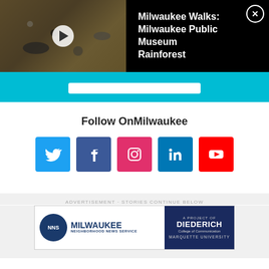[Figure (screenshot): Video overlay bar with thumbnail of insect/butterfly museum display, play button, title 'Milwaukee Walks: Milwaukee Public Museum Rainforest', and close (X) button]
Follow OnMilwaukee
[Figure (infographic): Row of 5 social media icons: Twitter (blue), Facebook (dark blue), Instagram (pink/magenta), LinkedIn (blue), YouTube (red)]
ADVERTISEMENT · STORIES CONTINUE BELOW
[Figure (photo): Advertisement banner for Milwaukee Neighborhood News Service, a project of Diederich College of Communication, Marquette University]